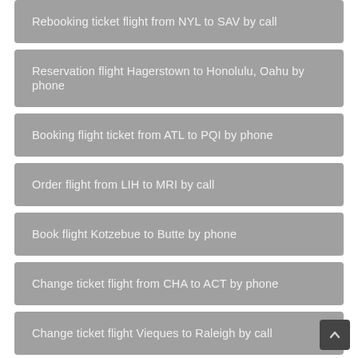Rebooking ticket flight from NYL to SAV by call
Reservation flight Hagerstown to Honolulu, Oahu by phone
Booking flight ticket from ATL to PQI by phone
Order flight from LIH to MRI by call
Book flight Kotzebue to Butte by phone
Change ticket flight from CHA to ACT by phone
Change ticket flight Vieques to Raleigh by call
Reservation ticket flight Midland to New York / Newark by call